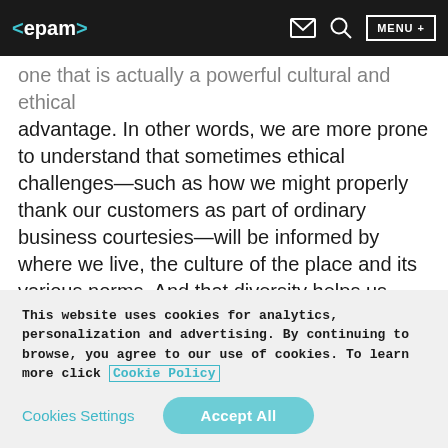<epam> [mail icon] [search icon] MENU +
one that is actually a powerful cultural and ethical advantage. In other words, we are more prone to understand that sometimes ethical challenges—such as how we might properly thank our customers as part of ordinary business courtesies—will be informed by where we live, the culture of the place and its various norms. And that diversity helps us understand many other nuances of both ethical and legally compliant behavior.
This website uses cookies for analytics, personalization and advertising. By continuing to browse, you agree to our use of cookies. To learn more click Cookie Policy
Cookies Settings    Accept All